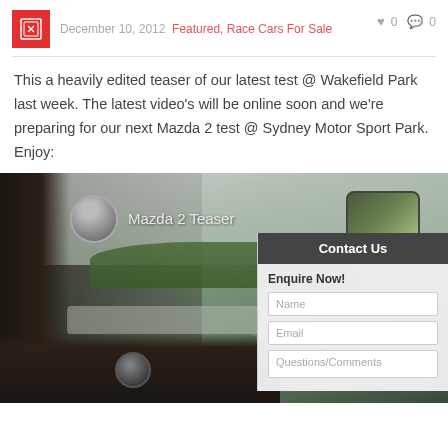December 10, 2012  Featured, Race Cars For Sale  ♥ 0  💬 0
This a heavily edited teaser of our latest test @ Wakefield Park last week. The latest video's will be online soon and we're preparing for our next Mazda 2 test @ Sydney Motor Sport Park. Enjoy:
[Figure (screenshot): Video thumbnail showing Mazda 2 Teaser with interior car view, dashboard, and race track in background. Overlaid Contact Us panel with Enquire Now! form fields for Name, Email, Questions/Comments.]